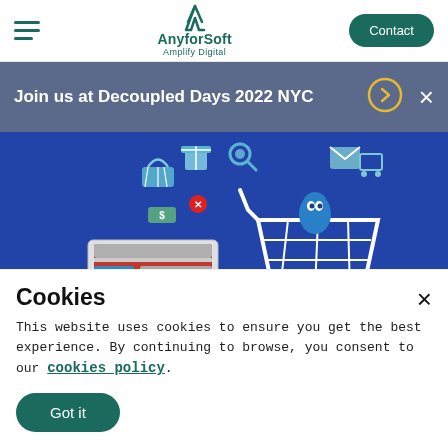AnyforSoft – Amplify Digital | Contact
Join us at Decoupled Days 2022 NYC
[Figure (illustration): Hero illustration on blue background showing a laptop with a website interface, icons for shopping (cart, gifts, magnifier, email), and a Drupal droplet character with shopping cart on a blue background.]
Cookies
This website uses cookies to ensure you get the best experience. By continuing to browse, you consent to our cookies policy.
Got it